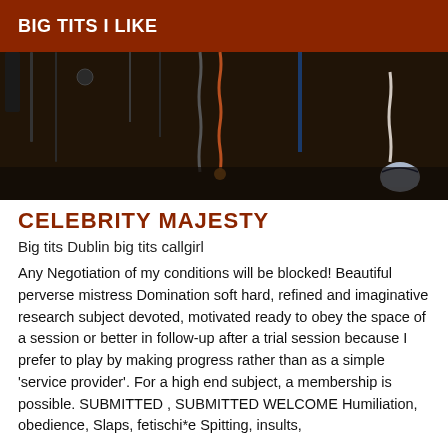BIG TITS I LIKE
[Figure (photo): Dark background photo showing hanging chains, ropes, and other items against a dark curtain or wall]
CELEBRITY MAJESTY
Big tits Dublin big tits callgirl
Any Negotiation of my conditions will be blocked! Beautiful perverse mistress Domination soft hard, refined and imaginative research subject devoted, motivated ready to obey the space of a session or better in follow-up after a trial session because I prefer to play by making progress rather than as a simple 'service provider'. For a high end subject, a membership is possible. SUBMITTED , SUBMITTED WELCOME Humiliation, obedience, Slaps, fetischi*e Spitting, insults, spanking, and so on... For a sitting WOMAN, CVE